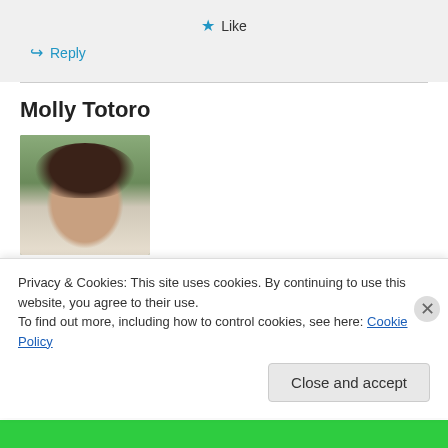★ Like
↪ Reply
Molly Totoro
[Figure (photo): Headshot photo of a woman with short dark brown hair, smiling, against a blurred outdoor background]
Privacy & Cookies: This site uses cookies. By continuing to use this website, you agree to their use.
To find out more, including how to control cookies, see here: Cookie Policy
Close and accept